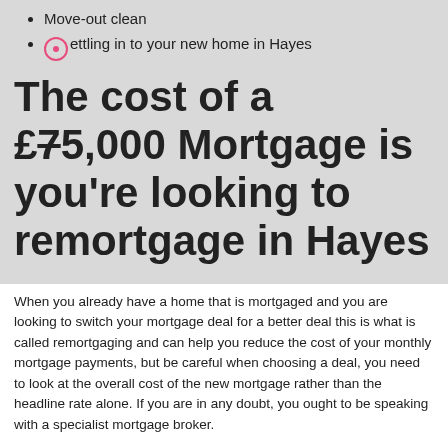Move-out clean
Settling in to your new home in Hayes
The cost of a £75,000 Mortgage is you're looking to remortgage in Hayes
When you already have a home that is mortgaged and you are looking to switch your mortgage deal for a better deal this is what is called remortgaging and can help you reduce the cost of your monthly mortgage payments, but be careful when choosing a deal, you need to look at the overall cost of the new mortgage rather than the headline rate alone. If you are in any doubt, you ought to be speaking with a specialist mortgage broker.
A good mortgage broker will tend to take both the rate and any fees into account so that you can work out exactly how much you will save by moving to a new deal in Hayes. You should also